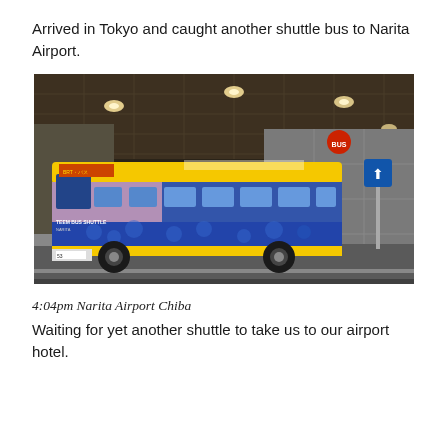Arrived in Tokyo and caught another shuttle bus to Narita Airport.
[Figure (photo): A colorful shuttle bus with yellow top and bottom stripes and blue midsection with decorative pattern, parked under a covered terminal area at night/dusk. The bus has text reading 'TEEM BUS SHUTTLE' on its side. An airport building and road sign are visible in the background.]
4:04pm Narita Airport Chiba
Waiting for yet another shuttle to take us to our airport hotel.